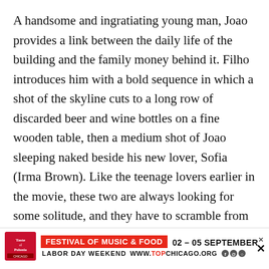A handsome and ingratiating young man, Joao provides a link between the daily life of the building and the family money behind it. Filho introduces him with a bold sequence in which a shot of the skyline cuts to a long row of discarded beer and wine bottles on a fine wooden table, then a medium shot of Joao sleeping naked beside his new lover, Sofia (Irma Brown). Like the teenage lovers earlier in the movie, these two are always looking for some solitude, and they have to scramble from the living room into the bedroom when the maid arrives. Later on, the building guard watches on a security monitor as Joao and Sofia make out in the elevator. Sofia has grown up in the neighborhood, and
[Figure (infographic): Advertisement banner for Taste of Polonia Festival of Music & Food, September 02-05, Labor Day Weekend, www.topchicago.org with social media icons. Red badge and logo visible.]